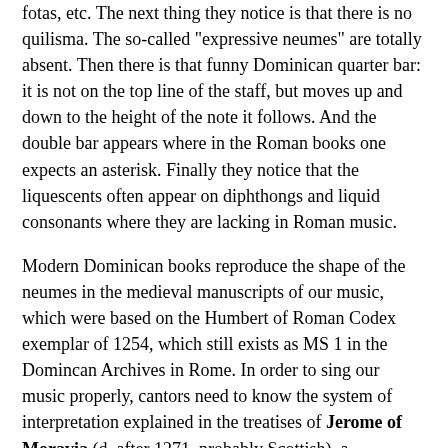fotas, etc. The next thing they notice is that there is no quilisma. The so-called "expressive neumes" are totally absent. Then there is that funny Dominican quarter bar: it is not on the top line of the staff, but moves up and down to the height of the note it follows. And the double bar appears where in the Roman books one expects an asterisk. Finally they notice that the liquescents often appear on diphthongs and liquid consonants where they are lacking in Roman music.
Modern Dominican books reproduce the shape of the neumes in the medieval manuscripts of our music, which were based on the Humbert of Roman Codex exemplar of 1254, which still exists as MS 1 in the Domincan Archives in Rome. In order to sing our music properly, cantors need to know the system of interpretation explained in the treatises of Jerome of Moravia (d. after 1271. probably Scottish), a Dominican musicologist, who codified traditional practice. An image of his treatise De Musica, copied at the beginning of every medieval Dominican Antiphonal, is at the top of this post. It is from the fourteenth-century Poissy Antiphonal.
His system for rhythm is presented in an accessible, albeit